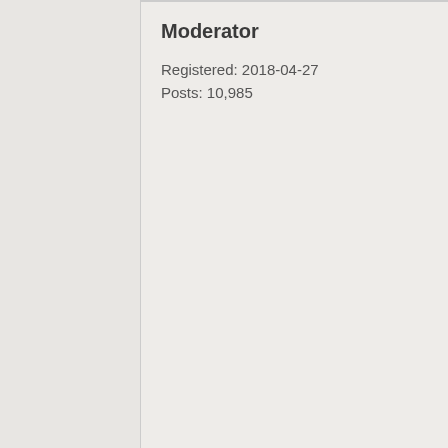Moderator
Registered: 2018-04-27
Posts: 10,985
For Calliban ... I'm planning to read the article... I decided to post this because I recognized the name you chose to post ...
Biography Mark P. Mills is a senior fellow at